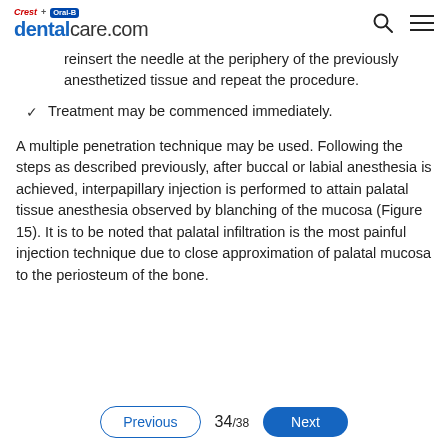Crest + Oral-B dentalcare.com
reinsert the needle at the periphery of the previously anesthetized tissue and repeat the procedure.
Treatment may be commenced immediately.
A multiple penetration technique may be used. Following the steps as described previously, after buccal or labial anesthesia is achieved, interpapillary injection is performed to attain palatal tissue anesthesia observed by blanching of the mucosa (Figure 15). It is to be noted that palatal infiltration is the most painful injection technique due to close approximation of palatal mucosa to the periosteum of the bone.
Previous  34/38  Next